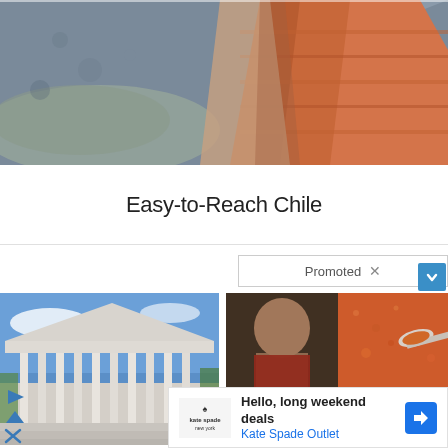[Figure (photo): Landscape photo of red-orange rock formations (hoodoos) against a grey rocky mountainside, likely Bryce Canyon or similar Utah/Chile geological feature]
Easy-to-Reach Chile
Promoted X
[Figure (photo): Thumbnail photo of the US Supreme Court building with white columns against a blue sky]
[Figure (photo): Composite thumbnail: fitness/bodybuilder person on left, orange spice with a spoon on right]
Hello, long weekend deals Kate Spade Outlet